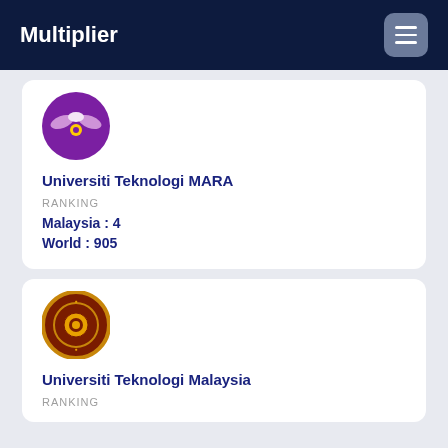Multiplier
[Figure (logo): Universiti Teknologi MARA logo - purple circular emblem]
Universiti Teknologi MARA
RANKING
Malaysia : 4
World : 905
[Figure (logo): Universiti Teknologi Malaysia logo - circular emblem with gold ring design on dark red background]
Universiti Teknologi Malaysia
RANKING